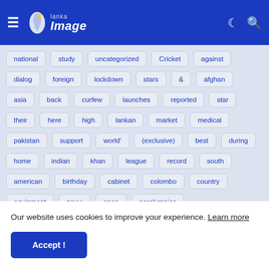Lanka Image - navigation bar with hamburger menu, logo, moon icon, search icon
[Figure (screenshot): Tag cloud with blue pill-shaped tags on light blue-gray background: national, study, uncategorized, Cricket, against, dialog, foreign, lockdown, stars, &, afghan, asia, back, curfew, launches, reported, star, their, here, high, lankan, market, medical, pakistan, support, world&#8217;, (exclusive), best, during, home, indian, khan, league, record, south, american, birthday, cabinet, colombo, country, equipment, navy:, open, paralympics]
Our website uses cookies to improve your experience. Learn more
Accept !